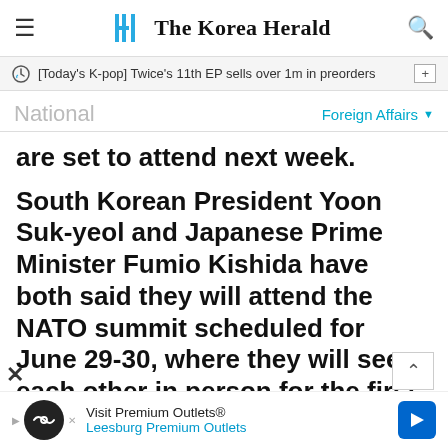The Korea Herald
[Today's K-pop] Twice's 11th EP sells over 1m in preorders
National
Foreign Affairs
are set to attend next week.
South Korean President Yoon Suk-yeol and Japanese Prime Minister Fumio Kishida have both said they will attend the NATO summit scheduled for June 29-30, where they will see each other in person for the first time; it has been less than two months since Yoon was inaugurated on May 10.
[Figure (infographic): Advertisement banner for Visit Premium Outlets / Leesburg Premium Outlets with logo and direction arrow icon]